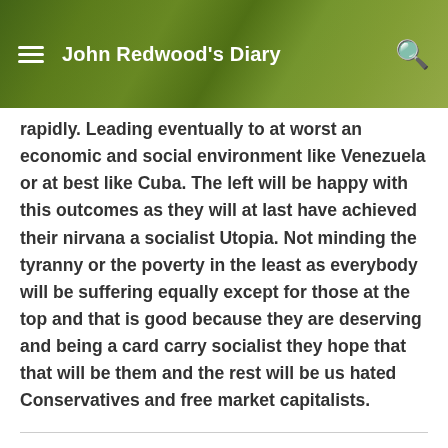John Redwood's Diary
rapidly. Leading eventually to at worst an economic and social environment like Venezuela or at best like Cuba. The left will be happy with this outcomes as they will at last have achieved their nirvana a socialist Utopia. Not minding the tyranny or the poverty in the least as everybody will be suffering equally except for those at the top and that is good because they are deserving and being a card carry socialist they hope that that will be them and the rest will be us hated Conservatives and free market capitalists.
Epíkouros
May 2, 2018
I should have added Conservatives and free market capitalists are no longer synonyms as the Conservative party is no